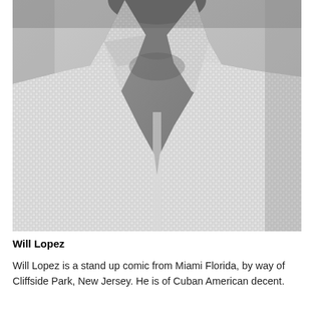[Figure (photo): Black and white close-up photograph of a man from the chin/neck area down to his torso, wearing an open-collar checkered/gingham button-up shirt. The background is a light gray wall. The image is cropped showing just the lower face/chin, neck, chest and upper body.]
Will Lopez
Will Lopez is a stand up comic from Miami Florida, by way of Cliffside Park, New Jersey. He is of Cuban American decent.